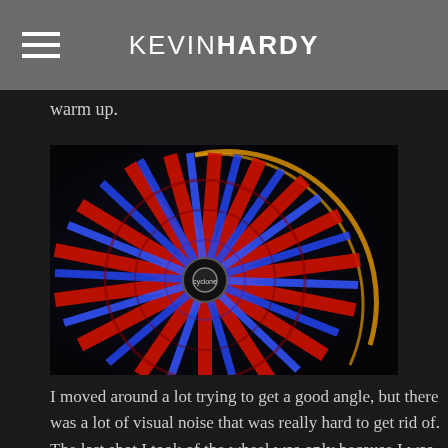KEVIN HARDY
warm up.
[Figure (photo): Close-up photograph of a illuminated Ferris wheel at night, with red and blue LED lights radiating outward from the center hub against a dark background, creating a vivid spiral pattern.]
I moved around a lot trying to get a good angle, but there was a lot of visual noise that was really hard to get rid of. The last shot I took of the wheel was only because I was a